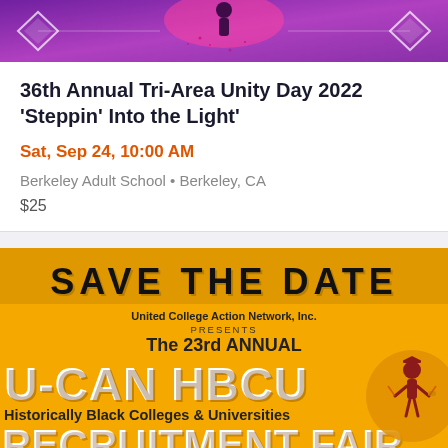[Figure (illustration): Purple and pink decorative banner with diamond shapes and a silhouette figure]
36th Annual Tri-Area Unity Day 2022 'Steppin' Into the Light'
Sat, Sep 24, 10:00 AM
Berkeley Adult School • Berkeley, CA
$25
[Figure (illustration): Save The Date banner for the 23rd Annual U-CAN HBCU Historically Black Colleges & Universities Recruitment Fair, yellow/orange background with white bold text and a graduation figure logo]